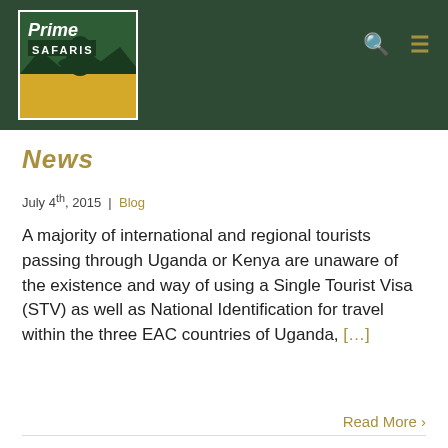[Figure (logo): Prime Safaris logo — green and yellow logo with gorilla silhouette and mountain, text 'Prime SAFARIS']
Prime Safaris — navigation bar with search and menu icons
News
July 4th, 2015 | Blog
A majority of international and regional tourists passing through Uganda or Kenya are unaware of the existence and way of using a Single Tourist Visa (STV) as well as National Identification for travel within the three EAC countries of Uganda, […]
Read More >